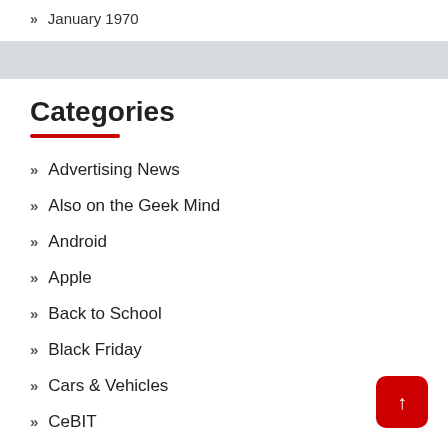» January 1970
Categories
» Advertising News
» Also on the Geek Mind
» Android
» Apple
» Back to School
» Black Friday
» Cars & Vehicles
» CeBIT